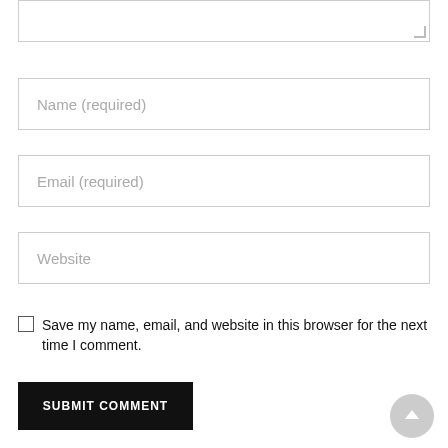[Figure (screenshot): Partial textarea input box at top of page with resize handle in bottom-right corner]
Name (required)
Email (required)
Website
Save my name, email, and website in this browser for the next time I comment.
SUBMIT COMMENT